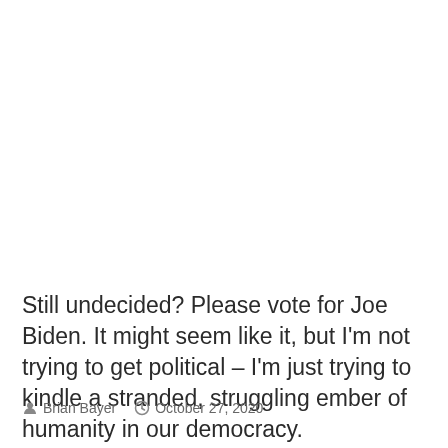Still undecided? Please vote for Joe Biden. It might seem like it, but I'm not trying to get political – I'm just trying to kindle a stranded, struggling ember of humanity in our democracy.
Brian Bayer   October 27, 2020